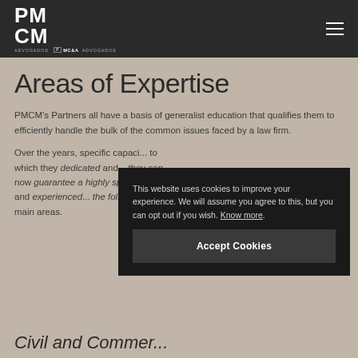PMCM ADVOGADOS IN ASSOCIATION WITH MC&A ADVOGADOS
Areas of Expertise
PMCM's Partners all have a basis of generalist education that qualifies them to efficiently handle the bulk of the common issues faced by a law firm.
Over the years, specific capacity... to which they... they can now guarantee a highly specialized and experienced... the following main areas.
This website uses cookies to improve your experience. We will assume you agree to this, but you can opt out if you wish. Know more.
Accept Cookies